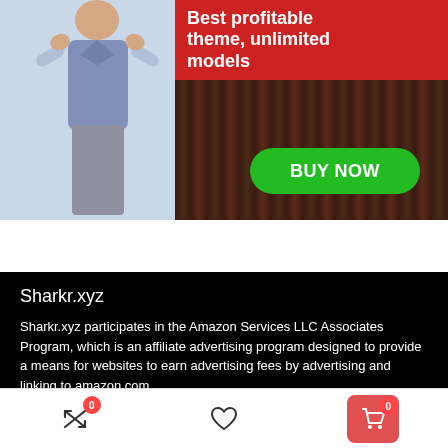[Figure (illustration): Advertisement banner showing a woman in a denim outfit on the left, a red section with 'Best profitable theme, unlimited models' text, and a green 'BUY NOW' button on a dark wood background]
Sharkr.xyz
Sharkr.xyz participates in the Amazon Services LLC Associates Program, which is an affiliate advertising program designed to provide a means for websites to earn advertising fees by advertising and linking to amazon.com
[Figure (screenshot): Bottom navigation bar with a shuffle/compare icon with badge 0, a heart/wishlist icon, and a red cart button with badge 0]